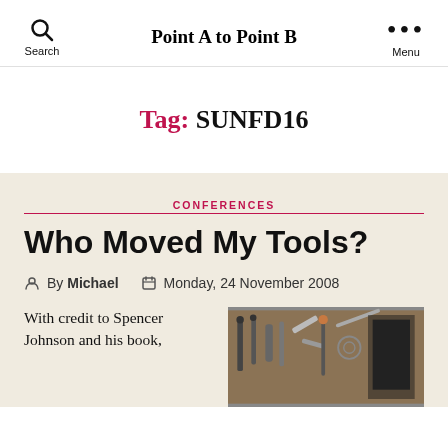Point A to Point B
Tag: SUNFD16
CONFERENCES
Who Moved My Tools?
By Michael   Monday, 24 November 2008
With credit to Spencer Johnson and his book,
[Figure (photo): Photo of tools hanging on a pegboard, including scissors and various hand tools]